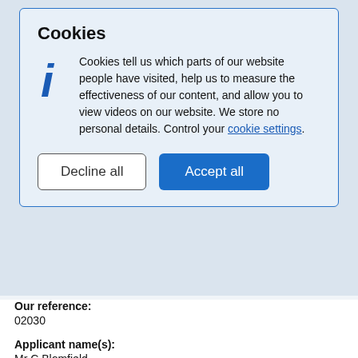[Figure (screenshot): Cookie consent modal dialog with title 'Cookies', explanatory text about cookies, an info icon, a 'Decline all' button and an 'Accept all' button, overlaying a government planning portal page.]
Our reference:
02030
Applicant name(s):
Mr C Blomfield
Postcode(s):
OX25 4NF